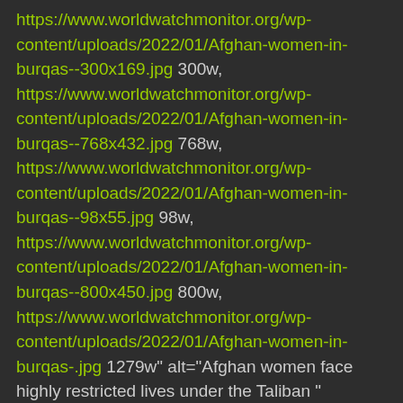https://www.worldwatchmonitor.org/wp-content/uploads/2022/01/Afghan-women-in-burqas--300x169.jpg 300w, https://www.worldwatchmonitor.org/wp-content/uploads/2022/01/Afghan-women-in-burqas--768x432.jpg 768w, https://www.worldwatchmonitor.org/wp-content/uploads/2022/01/Afghan-women-in-burqas--98x55.jpg 98w, https://www.worldwatchmonitor.org/wp-content/uploads/2022/01/Afghan-women-in-burqas--800x450.jpg 800w, https://www.worldwatchmonitor.org/wp-content/uploads/2022/01/Afghan-women-in-burqas-.jpg 1279w" alt="Afghan women face highly restricted lives under the Taliban " width="770" height="433" class="wp-image-38895 size-large entered lazyloaded" data-lazy-srcset="https://www.worldwatchmonitor.org/wp-content/uploads/2022/01/Afghan-women-in-burqas--1024x576.jpg 1024w,